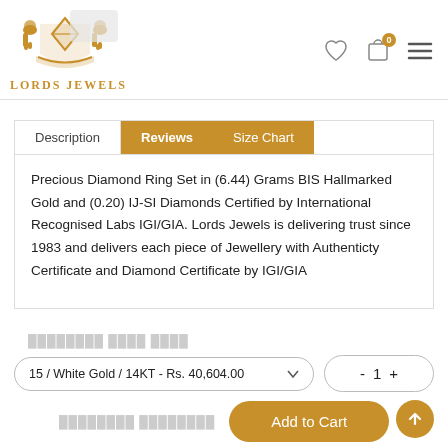[Figure (logo): Lords Jewels logo with golden heraldic crest featuring lions and diamond, with text LORDS JEWELS below]
Description | Reviews | Size Chart (tab navigation)
Precious Diamond Ring Set in (6.44) Grams BIS Hallmarked Gold and (0.20) IJ-SI Diamonds Certified by International Recognised Labs IGI/GIA. Lords Jewels is delivering trust since 1983 and delivers each piece of Jewellery with Authenticty Certificate and Diamond Certificate by IGI/GIA
15 / White Gold / 14KT - Rs. 40,604.00
- 1 +
Add to Cart